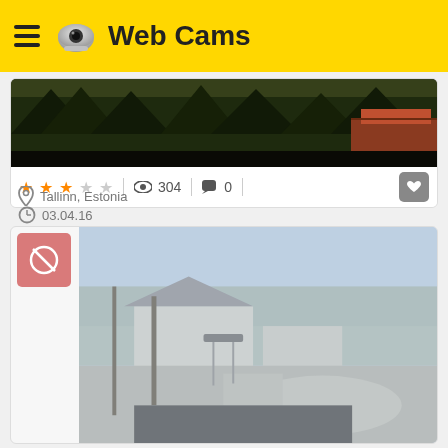Web Cams
[Figure (screenshot): Webcam image showing trees and a building with red roof at dusk/evening]
★★★☆☆  304  0
Tallinn, Estonia
03.04.16
[Figure (screenshot): Webcam image showing a driveway and suburban area in winter/early spring, with a no-signal icon overlay]